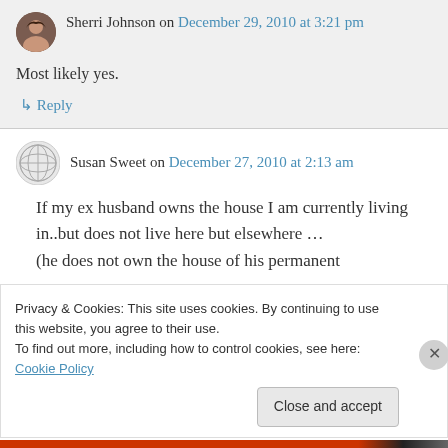Sherri Johnson on December 29, 2010 at 3:21 pm
Most likely yes.
↳ Reply
Susan Sweet on December 27, 2010 at 2:13 am
If my ex husband owns the house I am currently living in..but does not live here but elsewhere … (he does not own the house of his permanent
Privacy & Cookies: This site uses cookies. By continuing to use this website, you agree to their use. To find out more, including how to control cookies, see here: Cookie Policy
Close and accept